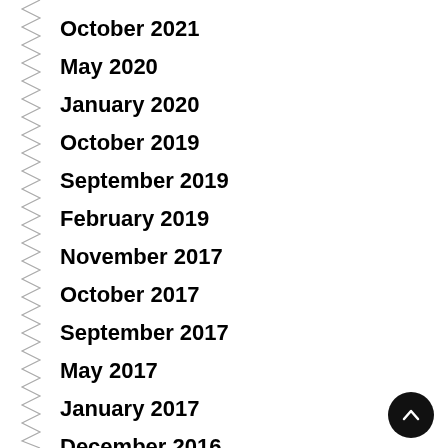October 2021
May 2020
January 2020
October 2019
September 2019
February 2019
November 2017
October 2017
September 2017
May 2017
January 2017
December 2016